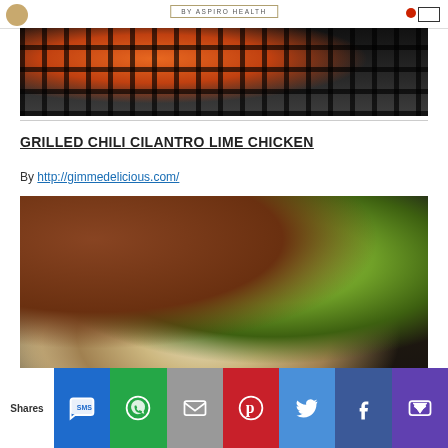BY ASPIRO HEALTH
[Figure (photo): Close-up photo of food on a grill with dark grill grates and an orange/red food item being grilled]
GRILLED CHILI CILANTRO LIME CHICKEN
By http://gimmedelicious.com/
[Figure (photo): Photo of grilled chili cilantro lime chicken on a dark cast iron grill pan, served with a lime wedge and salsa in background]
Shares | SMS | WhatsApp | Email | Pinterest | Twitter | Facebook | More